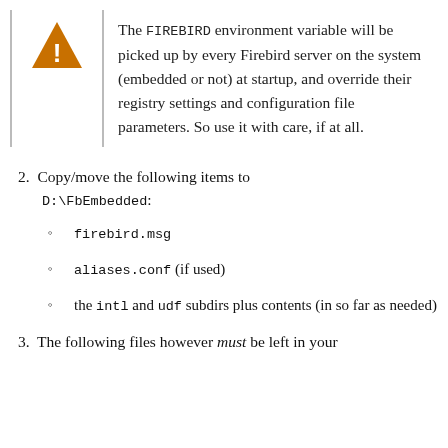The FIREBIRD environment variable will be picked up by every Firebird server on the system (embedded or not) at startup, and override their registry settings and configuration file parameters. So use it with care, if at all.
2. Copy/move the following items to D:\FbEmbedded:
firebird.msg
aliases.conf (if used)
the intl and udf subdirs plus contents (in so far as needed)
3. The following files however must be left in your